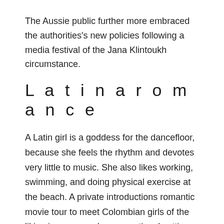The Aussie public further more embraced the authorities's new policies following a media festival of the Jana Klintoukh circumstance.
Latinaromance
A Latin girl is a goddess for the dancefloor, because she feels the rhythm and devotes very little to music. She also likes working, swimming, and doing physical exercise at the beach. A private introductions romantic movie tour to meet Colombian girls of the liking in a personal conversational setting. We all will oversee and help your Latin introductions so that you will discover the wife you need. Read the neutral journey studies no marital life agency agrees with and begin the distinctive voyage that can kind your new family members. A Latin girls photo